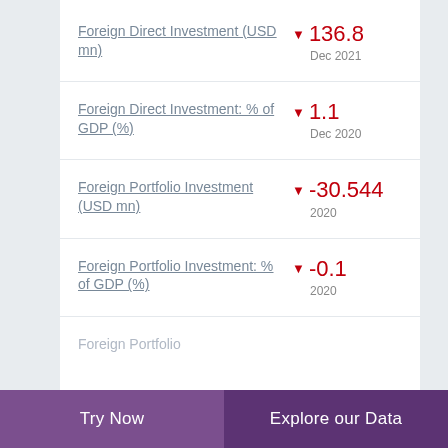Foreign Direct Investment (USD mn) ▼ 136.8 Dec 2021
Foreign Direct Investment: % of GDP (%) ▼ 1.1 Dec 2020
Foreign Portfolio Investment (USD mn) ▼ -30.544 2020
Foreign Portfolio Investment: % of GDP (%) ▼ -0.1 2020
Foreign Portfolio
Try Now | Explore our Data